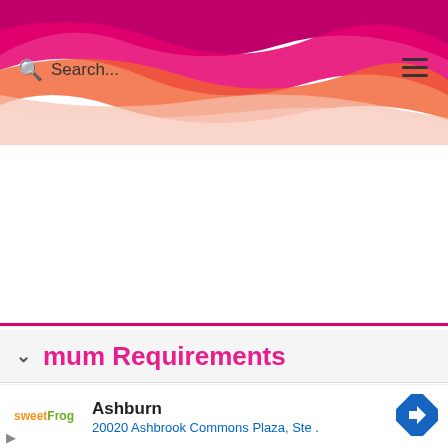Search... [hamburger menu]
mum Requirements
[Figure (screenshot): sweetFrog advertisement showing Ashburn location at 20020 Ashbrook Commons Plaza, Ste . with navigation arrow icon]